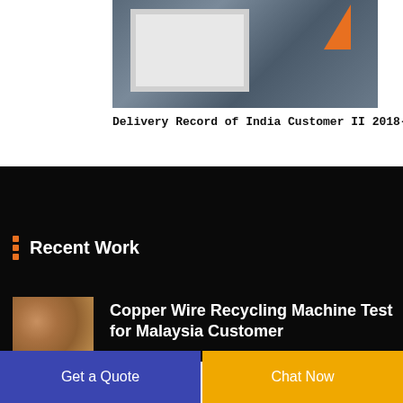[Figure (photo): Industrial machinery photo showing metal frame with orange triangular element, viewed from inside a shipping container or industrial setting]
Delivery Record of India Customer II 2018-07-03
Recent Work
[Figure (photo): Close-up photo of copper granules/pellets held in a hand, showing recycled copper wire output]
Copper Wire Recycling Machine Test for Malaysia Customer
Get a Quote
Chat Now